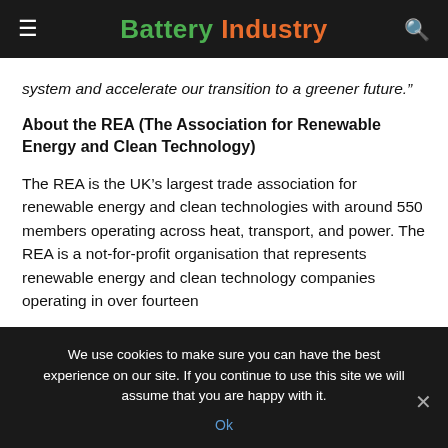Battery Industry
system and accelerate our transition to a greener future.”
About the REA (The Association for Renewable Energy and Clean Technology)
The REA is the UK’s largest trade association for renewable energy and clean technologies with around 550 members operating across heat, transport, and power. The REA is a not-for-profit organisation that represents renewable energy and clean technology companies operating in over fourteen
We use cookies to make sure you can have the best experience on our site. If you continue to use this site we will assume that you are happy with it.